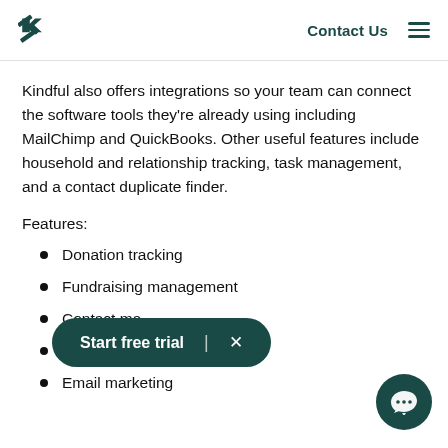Contact Us
Kindful also offers integrations so your team can connect the software tools they’re already using including MailChimp and QuickBooks. Other useful features include household and relationship tracking, task management, and a contact duplicate finder.
Features:
Donation tracking
Fundraising management
Contact management
Social media integration
Email marketing